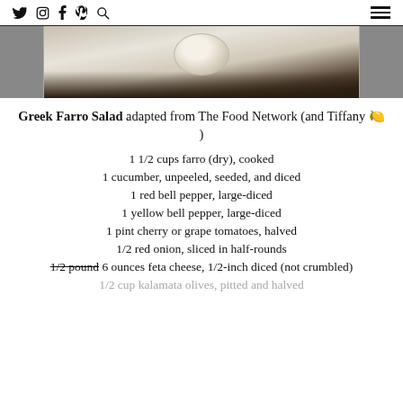Social icons: Twitter, Instagram, Facebook, Pinterest, Search | Hamburger menu
[Figure (photo): Partial photo of a bowl with food (Greek Farro Salad), showing white bowl with dark background, cropped at top]
Greek Farro Salad adapted from The Food Network (and Tiffany 🍋 )
1 1/2 cups farro (dry), cooked
1 cucumber, unpeeled, seeded, and diced
1 red bell pepper, large-diced
1 yellow bell pepper, large-diced
1 pint cherry or grape tomatoes, halved
1/2 red onion, sliced in half-rounds
1/2 pound [strikethrough] 6 ounces feta cheese, 1/2-inch diced (not crumbled)
1/2 cup kalamata olives, pitted and halved